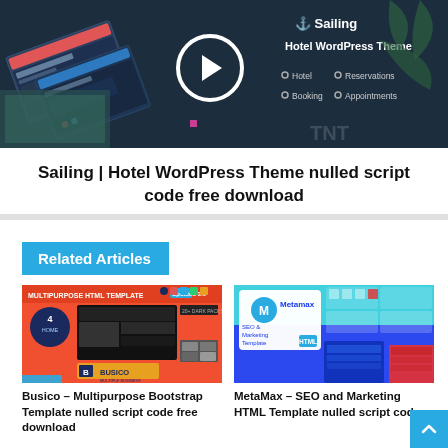[Figure (screenshot): Hero image showing Sailing Hotel WordPress Theme with dark background, website mockups, a play button circle, and text listing Hotel, Reservations, Booking, Appointments features.]
Sailing | Hotel WordPress Theme nulled script code free download
Related Articles
[Figure (screenshot): Busico Multipurpose HTML Template preview with orange/red background, showing 4 home layouts, dark theme mockups and Busico branding logo.]
Busico – Multipurpose Bootstrap Template nulled script code free download
[Figure (screenshot): MetaMax SEO and Marketing HTML Template preview with blue background and Metamax logo and marketing website mockups.]
MetaMax – SEO and Marketing HTML Template nulled script code....